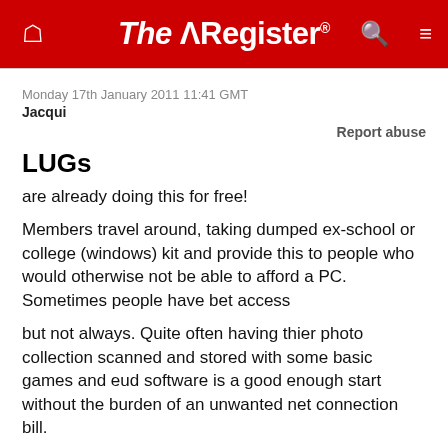The Register
Monday 17th January 2011 11:41 GMT
Jacqui
Report abuse
LUGs
are already doing this for free!
Members travel around, taking dumped ex-school or college (windows) kit and provide this to people who would otherwise not be able to afford a PC. Sometimes people have bet access
but not always. Quite often having thier photo collection scanned and stored with some basic games and eud software is a good enough start without the burden of an unwanted net connection bill.
I got involved but the problem was some of the folks I supplied machines to ended up having the systems